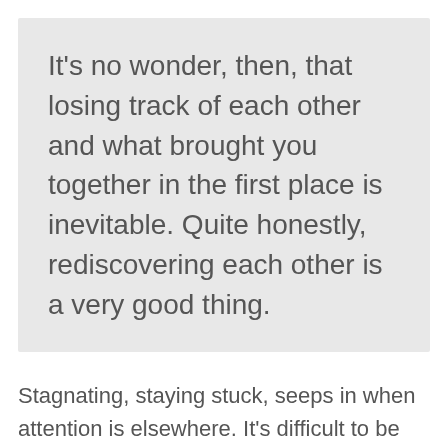It's no wonder, then, that losing track of each other and what brought you together in the first place is inevitable.  Quite honestly, rediscovering each other is a very good thing.
Stagnating, staying stuck, seeps in when attention is elsewhere.  It's difficult to be attentive, exciting, romantic or communicative when the focus is on